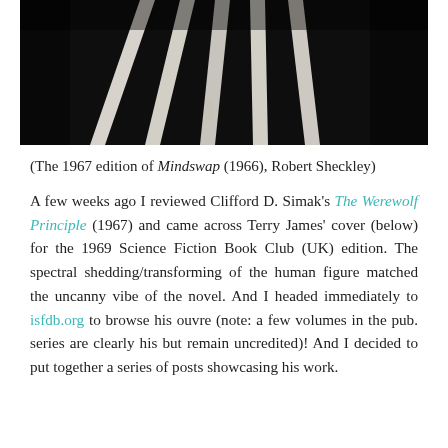[Figure (photo): Black and white photograph showing a dark background with diagonal white stripe shapes, partial view of a book cover]
(The 1967 edition of Mindswap (1966), Robert Sheckley)
A few weeks ago I reviewed Clifford D. Simak's The Werewolf Principle (1967) and came across Terry James' cover (below) for the 1969 Science Fiction Book Club (UK) edition. The spectral shedding/transforming of the human figure matched the uncanny vibe of the novel. And I headed immediately to isfdb.org to browse his ouvre (note: a few volumes in the pub. series are clearly his but remain uncredited)! And I decided to put together a series of posts showcasing his work.